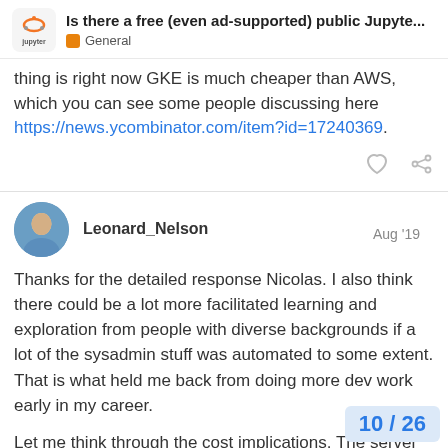Is there a free (even ad-supported) public Jupyte... — General
thing is right now GKE is much cheaper than AWS, which you can see some people discussing here https://news.ycombinator.com/item?id=17240369.
Leonard_Nelson  Aug '19
Thanks for the detailed response Nicolas. I also think there could be a lot more facilitated learning and exploration from people with diverse backgrounds if a lot of the sysadmin stuff was automated to some extent. That is what held me back from doing more dev work early in my career.
Let me think through the cost implications. The server time is one part of it, but the instance storage also adds up pretty quickly. I think there could be a couple way free tier of git LFS, for example, could allov
10 / 26